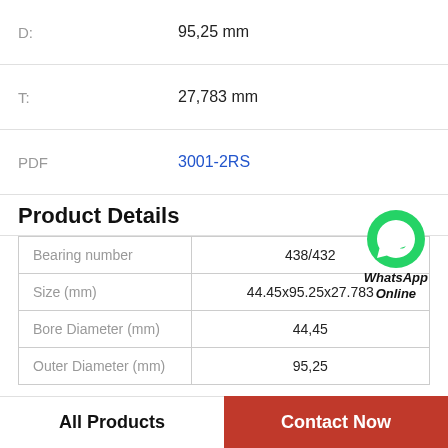| D: | 95,25 mm |
| --- | --- |
| T: | 27,783 mm |
| --- | --- |
| PDF | 3001-2RS |
| --- | --- |
Product Details
|  |  |
| --- | --- |
| Bearing number | 438/432 |
| Size (mm) | 44.45x95.25x27.783 |
| Bore Diameter (mm) | 44,45 |
| Outer Diameter (mm) | 95,25 |
All Products
Contact Now